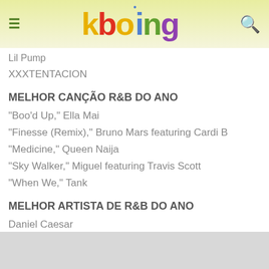kboing
Lil Pump
XXXTENTACION
MELHOR CANÇÃO R&B DO ANO
"Boo'd Up," Ella Mai
"Finesse (Remix)," Bruno Mars featuring Cardi B
"Medicine," Queen Naija
"Sky Walker," Miguel featuring Travis Scott
"When We," Tank
MELHOR ARTISTA DE R&B DO ANO
Daniel Caesar
Ella Mai